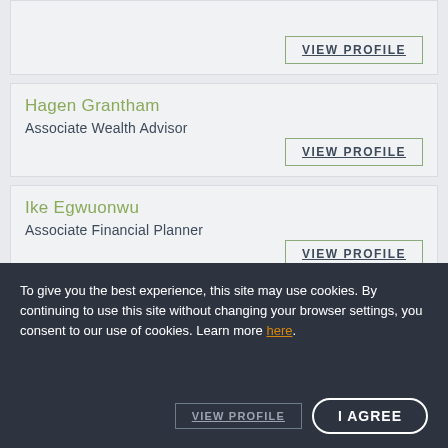VIEW PROFILE
Hagen Grantham
Associate Wealth Advisor
VIEW PROFILE
Ike Egwuonwu
Associate Financial Planner
VIEW PROFILE
To give you the best experience, this site may use cookies. By continuing to use this site without changing your browser settings, you consent to our use of cookies. Learn more here.
I AGREE